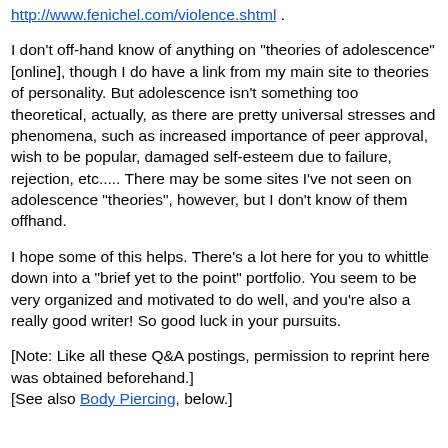http://www.fenichel.com/violence.shtml .
I don't off-hand know of anything on "theories of adolescence" [online], though I do have a link from my main site to theories of personality. But adolescence isn't something too theoretical, actually, as there are pretty universal stresses and phenomena, such as increased importance of peer approval, wish to be popular, damaged self-esteem due to failure, rejection, etc..... There may be some sites I've not seen on adolescence "theories", however, but I don't know of them offhand.
I hope some of this helps. There's a lot here for you to whittle down into a "brief yet to the point" portfolio. You seem to be very organized and motivated to do well, and you're also a really good writer! So good luck in your pursuits.
[Note: Like all these Q&A postings, permission to reprint here was obtained beforehand.]
[See also Body Piercing, below.]